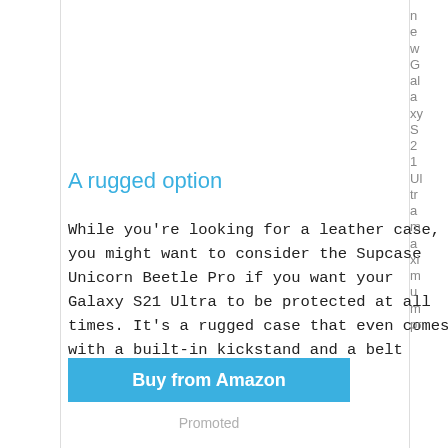A rugged option
While you're looking for a leather case, you might want to consider the Supcase Unicorn Beetle Pro if you want your Galaxy S21 Ultra to be protected at all times. It's a rugged case that even comes with a built-in kickstand and a belt holster.
Buy from Amazon
Promoted
newGalaxy S21 Ultramaximum pr